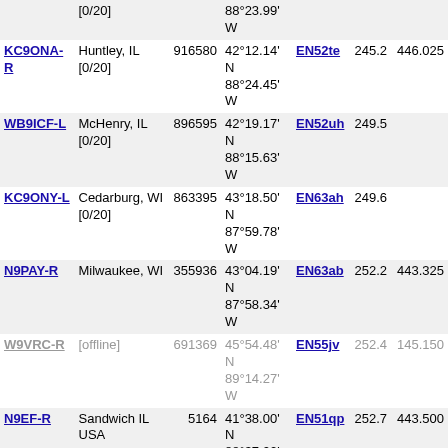| Callsign | Location | ID | Coordinates | Grid | Dist | Freq |
| --- | --- | --- | --- | --- | --- | --- |
|  | [0/20] |  | 88°23.99' W |  |  |  |
| KC9ONA-R | Huntley, IL [0/20] | 916580 | 42°12.14' N 88°24.45' W | EN52te | 245.2 | 446.025 |
| WB9ICF-L | McHenry, IL [0/20] | 896595 | 42°19.17' N 88°15.63' W | EN52uh | 249.5 |  |
| KC9ONY-L | Cedarburg, WI [0/20] | 863395 | 43°18.50' N 87°59.78' W | EN63ah | 249.6 |  |
| N9PAY-R | Milwaukee, WI | 355936 | 43°04.19' N 87°58.34' W | EN63ab | 252.2 | 443.325 |
| W9VRC-R | [offline] | 691369 | 45°54.48' N 89°14.27' W | EN55jv | 252.4 | 145.150 |
| N9EF-R | Sandwich IL USA | 5164 | 41°38.00' N 88°37.00' W | EN51qp | 252.7 | 443.500 |
| K9AT-L | Ingleside IL USA [0/20] | 311919 | 42°23.76' N 88°08.80' W | EN52wj | 253.4 |  |
| KC0MKS-R | Knife River MN USA | 239444 | 46°57.98' N 91°47.04' W | EN46cx | 253.5 | 444.100 |
| W2LST-L | Sugar Groove, IL [0/20] | 892277 | 41°45.47' N 88°29.21' W | EN51ss | 254.3 | 446.460 |
| N9GMT-R | New Berlin, WI [0/20] | 467140 | 43°02.30' N 87°54.12' W | EN63ba | 256.0 | 443.800 |
| N9DKH-R | Green Bay, WI [0/20] | 265839 | 44°28.04' N 88°02.07' W | EN54xl | 256.2 |  |
| K9EL-R | Schaumburg, IL | 554337 | 42°02.00' N 88°10.00' W | EN52va | 261.1 | 224.560 |
| WD0SKY-R | Plattsburg, MO | 295992 | 39°44.88' N | EM29tr | 262.5 |  |